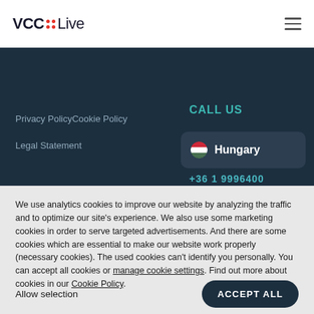VCC Live
Privacy PolicyCookie Policy
CALL US
Legal Statement
Hungary
+36 1 9996400
We use analytics cookies to improve our website by analyzing the traffic and to optimize our site's experience. We also use some marketing cookies in order to serve targeted advertisements. And there are some cookies which are essential to make our website work properly (necessary cookies). The used cookies can't identify you personally. You can accept all cookies or manage cookie settings. Find out more about cookies in our Cookie Policy.
Allow selection
ACCEPT ALL